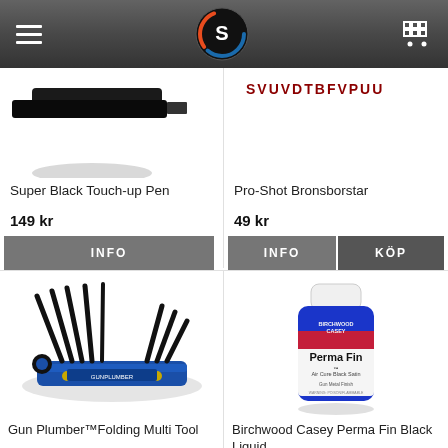[Figure (screenshot): Mobile e-commerce website header with hamburger menu, circular logo (S), and shopping cart icon on dark gradient background]
[Figure (photo): Partial image of Super Black Touch-up Pen product, top portion cropped]
Super Black Touch-up Pen
149 kr
INFO
[Figure (photo): Partial image of Pro-Shot Bronsborstar (bronze brushes), red text visible at top]
Pro-Shot Bronsborstar
49 kr
INFO
KÖP
[Figure (photo): Gun Plumber Folding Multi Tool - blue folding hex key set with multiple black tools spread out]
Gun Plumber™Folding Multi Tool
[Figure (photo): Birchwood Casey Perma Fin Black Liquid bottle - blue bottle with white cap and product label]
Birchwood Casey Perma Fin Black Liquid